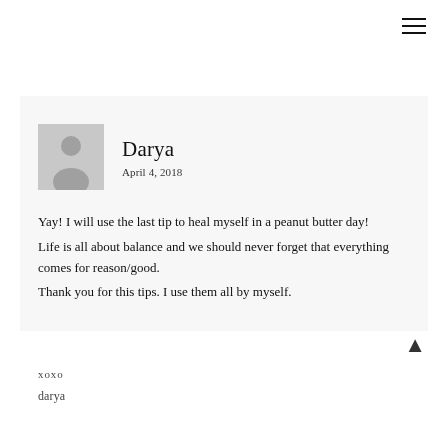[Figure (other): Hamburger menu icon (three horizontal lines) in top-right corner]
Darya
April 4, 2018
Yay! I will use the last tip to heal myself in a peanut butter day!
Life is all about balance and we should never forget that everything comes for reason/good.
Thank you for this tips. I use them all by myself.
xoxo
Darya